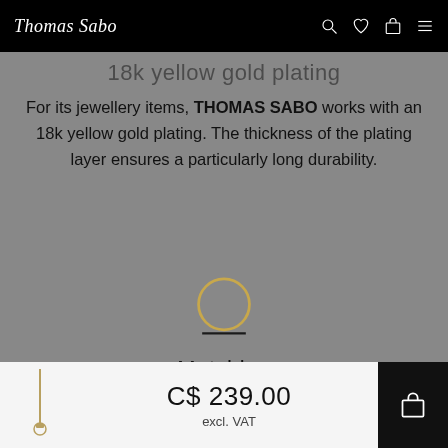Thomas Sabo
18k yellow gold plating
For its jewellery items, THOMAS SABO works with an 18k yellow gold plating. The thickness of the plating layer ensures a particularly long durability.
[Figure (illustration): Circle icon with horizontal line beneath it, representing a ring or jewellery item, above the label 'Matching']
Matching
C$ 239.00
excl. VAT